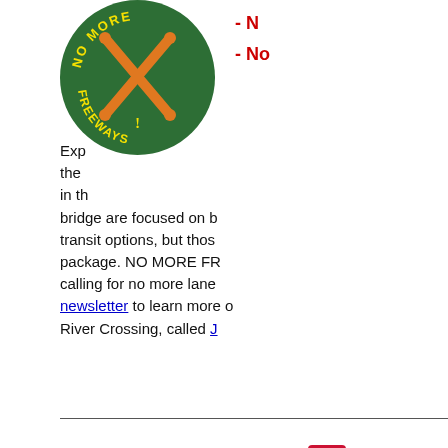[Figure (logo): No More Freeways circular logo — green circle with orange crossed rifles/sticks and yellow text reading NO MORE FREEWAYS]
- No
- No
Exp the in th bridge are focused on b transit options, but thos package. NO MORE FR calling for no more lane newsletter to learn more o River Crossing, called J
[Figure (logo): HCAO Action logo — bold red letters HCAO with Oregon state outline, blue word Action underneath]
which will likely hold hea contact Sen Wyden.